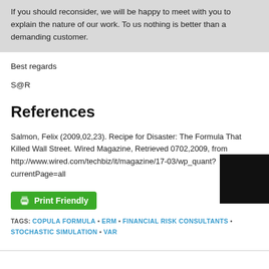If you should reconsider, we will be happy to meet with you to explain the nature of our work. To us nothing is better than a demanding customer.
Best regards
S@R
References
Salmon, Felix (2009,02,23). Recipe for Disaster: The Formula That Killed Wall Street. Wired Magazine, Retrieved 0702,2009, from http://www.wired.com/techbiz/it/magazine/17-03/wp_quant?currentPage=all
[Figure (other): Print Friendly button (green)]
TAGS: COPULA FORMULA • ERM • FINANCIAL RISK CONSULTANTS • STOCHASTIC SIMULATION • VAR
[Figure (other): Black square graphic, bottom right corner]